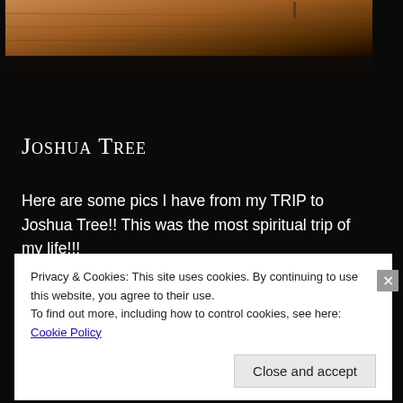[Figure (photo): Partial photograph showing a wooden surface with dark background, top portion of a blog page image]
Joshua Tree
Here are some pics I have from my TRIP to Joshua Tree!! This was the most spiritual trip of my life!!!
Privacy & Cookies: This site uses cookies. By continuing to use this website, you agree to their use.
To find out more, including how to control cookies, see here: Cookie Policy
Close and accept